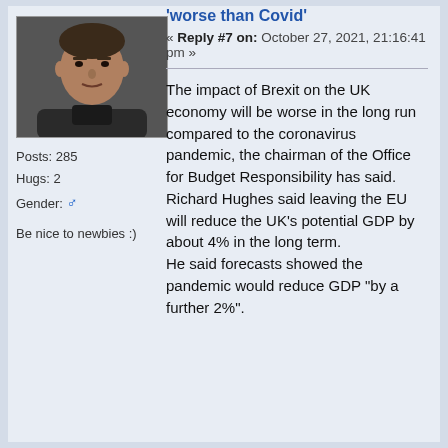[Figure (photo): User avatar photo showing a man's face, dark background]
Posts: 285
Hugs: 2
Gender: ♂
Be nice to newbies :)
'worse than Covid'
« Reply #7 on: October 27, 2021, 21:16:41 pm »
The impact of Brexit on the UK economy will be worse in the long run compared to the coronavirus pandemic, the chairman of the Office for Budget Responsibility has said.
Richard Hughes said leaving the EU will reduce the UK's potential GDP by about 4% in the long term.
He said forecasts showed the pandemic would reduce GDP "by a further 2%".